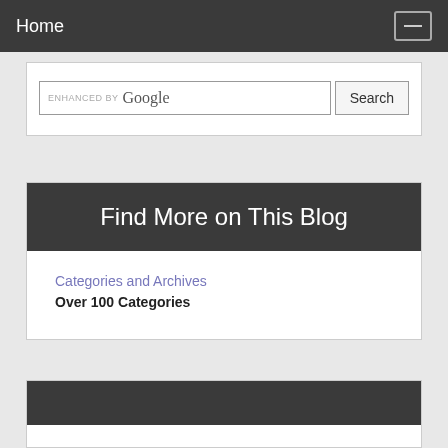Home
[Figure (screenshot): Google search bar with 'ENHANCED BY Google' text and a Search button]
Find More on This Blog
Categories and Archives
Over 100 Categories